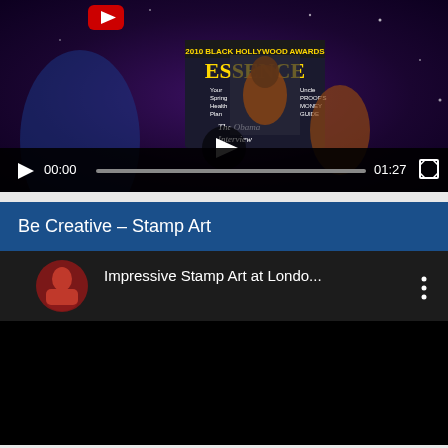[Figure (screenshot): Video player showing a dark/purple themed video with a magazine cover visible. Controls show 00:00 current time and 01:27 total duration with play button and progress bar.]
Be Creative – Stamp Art
[Figure (screenshot): YouTube-style video player showing 'Impressive Stamp Art at Londo...' with a circular avatar thumbnail of a person in red shirt, black video area below, and three-dot menu button.]